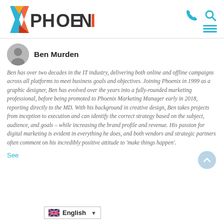Phoenix logo with navigation icons (phone, search, menu)
Ben Murden
Ben has over two decades in the IT industry, delivering both online and offline campaigns across all platforms to meet business goals and objectives. Joining Phoenix in 1999 as a graphic designer, Ben has evolved over the years into a fully-rounded marketing professional, before being promoted to Phoenix Marketing Manager early in 2018, reporting directly to the MD. With his background in creative design, Ben takes projects from inception to execution and can identify the correct strategy based on the subject, audience, and goals – while increasing the brand profile and revenue. His passion for digital marketing is evident in everything he does, and both vendors and strategic partners often comment on his incredibly positive attitude to 'make things happen'.
See